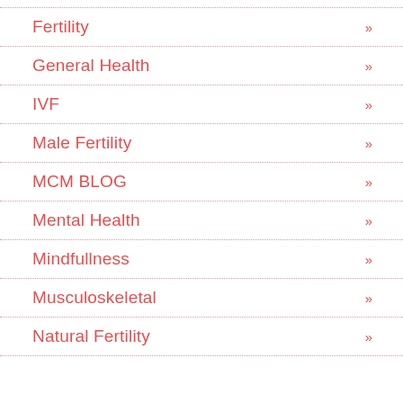Fertility »
General Health »
IVF »
Male Fertility »
MCM BLOG »
Mental Health »
Mindfullness »
Musculoskeletal »
Natural Fertility »